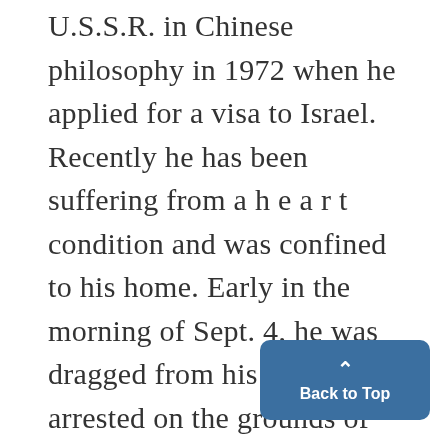U.S.S.R. in Chinese philosophy in 1972 when he applied for a visa to Israel. Recently he has been suffering from a h e a r t condition and was confined to his home. Early in the morning of Sept. 4, he was dragged from his bed and arrested on the grounds of "parasitism" or not doing useful work, which is a crime in the Soviet Union. We deplore this flagrant violation of human rights and the denial of humane treazment